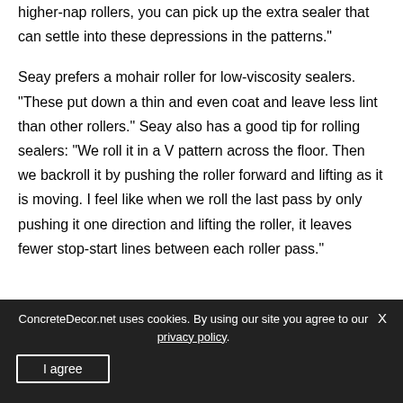higher-nap rollers, you can pick up the extra sealer that can settle into these depressions in the patterns."

Seay prefers a mohair roller for low-viscosity sealers. “These put down a thin and even coat and leave less lint than other rollers.” Seay also has a good tip for rolling sealers: “We roll it in a V pattern across the floor. Then we backroll it by pushing the roller forward and lifting as it is moving. I feel like when we roll the last pass by only pushing it one direction and lifting the roller, it leaves fewer stop-start lines between each roller pass.”
ConcreteDecor.net uses cookies. By using our site you agree to our privacy policy.